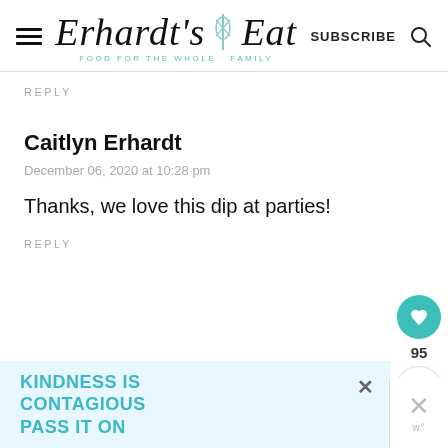Erhardt's Eat — FOOD FOR THE WHOLE FAMILY | SUBSCRIBE
REPLY
Caitlyn Erhardt
December 06, 2020 at 10:28 pm
Thanks, we love this dip at parties!
REPLY
KINDNESS IS CONTAGIOUS PASS IT ON